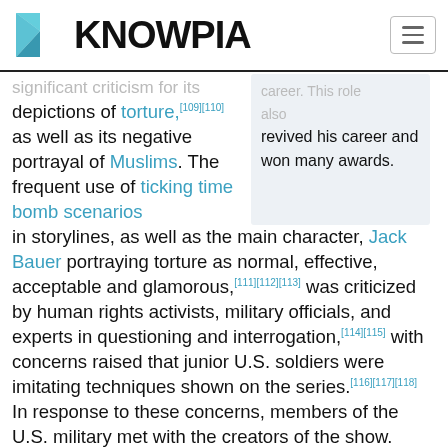KNOWPIA
depictions of torture,[109][110] as well as its negative portrayal of Muslims. The frequent use of ticking time bomb scenarios in storylines, as well as the main character, Jack Bauer portraying torture as normal, effective, acceptable and glamorous,[111][112][113] was criticized by human rights activists, military officials, and experts in questioning and interrogation,[114][115] with concerns raised that junior U.S. soldiers were imitating techniques shown on the series.[116][117][118] In response to these concerns, members of the U.S. military met with the creators of the show. Partly result of these discussions, and the military's appeal to the creators of the show to tone down the scenes
revived his career and won many awards.